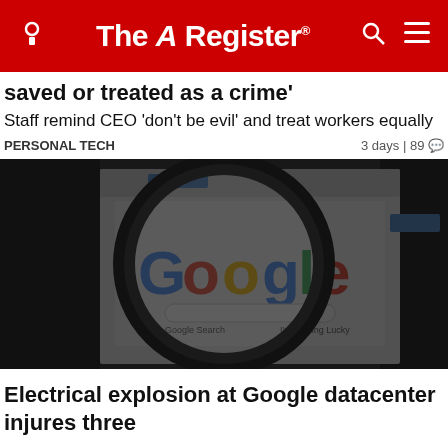The Register
saved or treated as a crime'
Staff remind CEO 'don't be evil' and treat workers equally
PERSONAL TECH   3 days | 89
[Figure (photo): A magnifying glass held over a computer screen showing the Google homepage with the Google logo visible in multicolor (blue, red, yellow, green), with Google Search and I'm Feeling Lucky buttons partially visible at the bottom. The background is blurred dark/black.]
Electrical explosion at Google datacenter injures three